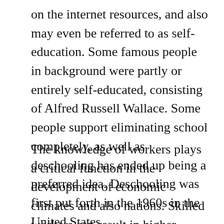on the internet resources, and also may even be referred to as self-education. Some famous people in background were partly or entirely self-educated, consisting of Alfred Russell Wallace. Some people support eliminating school completely, as well as deschooling has ended up being a preferred idea. Deschooling was first put forth in the 1960s in the United States.
The knowledge of workers plays a critical function in the development of economic climates and also nations. Skilled workers can result in higher wages as well as far better employment opportunities. Simply put, an informed population is an essential part of